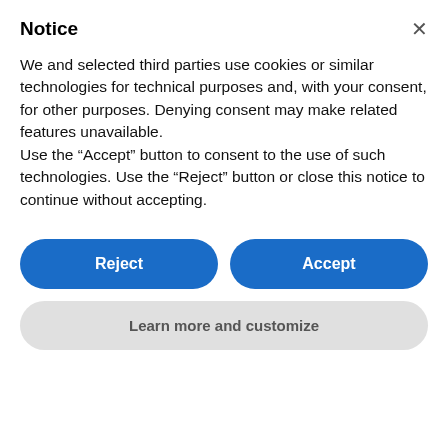Notice
We and selected third parties use cookies or similar technologies for technical purposes and, with your consent, for other purposes. Denying consent may make related features unavailable.
Use the “Accept” button to consent to the use of such technologies. Use the “Reject” button or close this notice to continue without accepting.
Reject
Accept
Learn more and customize
[Figure (photo): Hotel building exterior photo with overlaid text: Palace Grand Hotel, a fluent dialogue through history, culture and fine living]